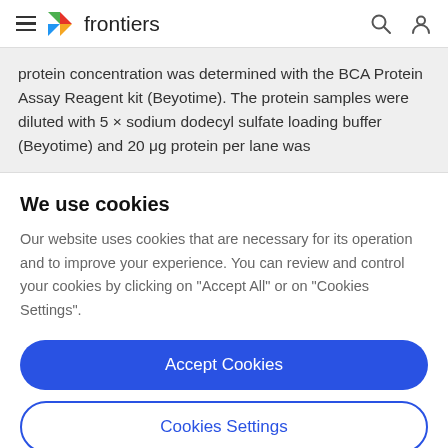frontiers
protein concentration was determined with the BCA Protein Assay Reagent kit (Beyotime). The protein samples were diluted with 5 × sodium dodecyl sulfate loading buffer (Beyotime) and 20 μg protein per lane was
We use cookies
Our website uses cookies that are necessary for its operation and to improve your experience. You can review and control your cookies by clicking on "Accept All" or on "Cookies Settings".
Accept Cookies
Cookies Settings